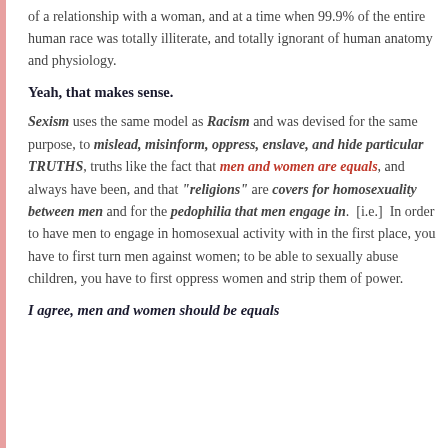of a relationship with a woman, and at a time when 99.9% of the entire human race was totally illiterate, and totally ignorant of human anatomy and physiology.
Yeah, that makes sense.
Sexism uses the same model as Racism and was devised for the same purpose, to mislead, misinform, oppress, enslave, and hide particular TRUTHS, truths like the fact that men and women are equals, and always have been, and that "religions" are covers for homosexuality between men and for the pedophilia that men engage in. [i.e.] In order to have men to engage in homosexual activity with in the first place, you have to first turn men against women; to be able to sexually abuse children, you have to first oppress women and strip them of power.
I agree, men and women should be equals